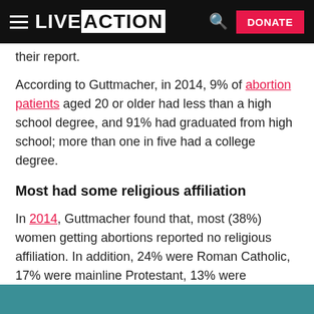LIVE ACTION — DONATE
their report.
According to Guttmacher, in 2014, 9% of abortion patients aged 20 or older had less than a high school degree, and 91% had graduated from high school; more than one in five had a college degree.
Most had some religious affiliation
In 2014, Guttmacher found that, most (38%) women getting abortions reported no religious affiliation. In addition, 24% were Roman Catholic, 17% were mainline Protestant, 13% were evangelical Protestant, and 8% were another affiliation.
[Figure (other): Teal/dark cyan colored bar or banner at the bottom of the page]